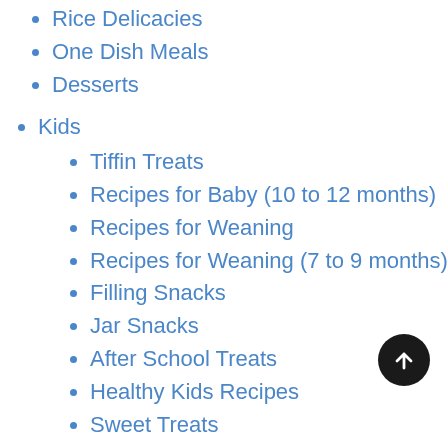Rice Delicacies
One Dish Meals
Desserts
Kids
Tiffin Treats
Recipes for Baby (10 to 12 months)
Recipes for Weaning
Recipes for Weaning (7 to 9 months)
Filling Snacks
Jar Snacks
After School Treats
Healthy Kids Recipes
Sweet Treats
Total Health